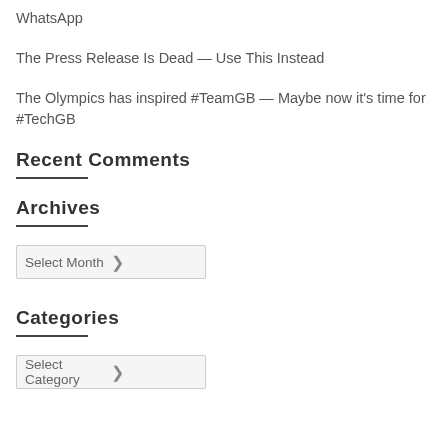WhatsApp
The Press Release Is Dead — Use This Instead
The Olympics has inspired #TeamGB — Maybe now it's time for #TechGB
Recent Comments
Archives
Select Month
Categories
Select Category